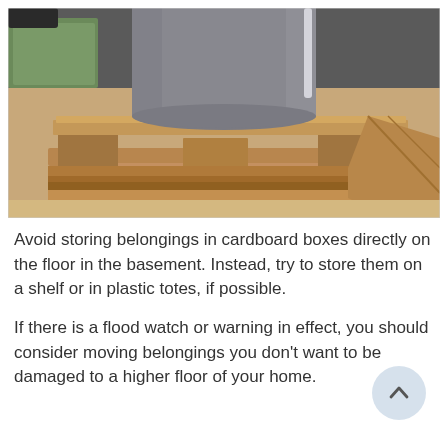[Figure (photo): A gray cylindrical water heater or tank sitting elevated on a wooden pallet/platform made of rough wooden planks in a basement setting.]
Avoid storing belongings in cardboard boxes directly on the floor in the basement. Instead, try to store them on a shelf or in plastic totes, if possible.
If there is a flood watch or warning in effect, you should consider moving belongings you don't want to be damaged to a higher floor of your home.